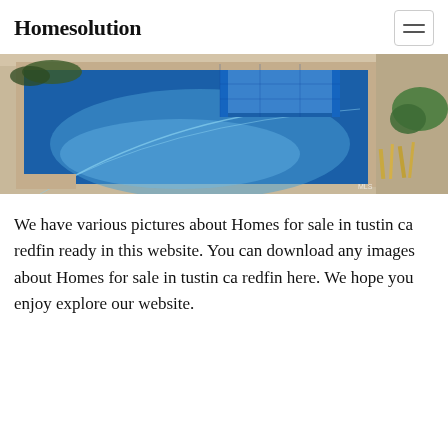Homesolution
[Figure (photo): Outdoor swimming pool and spa with blue water, surrounded by stone/travertine tile decking and tropical landscaping]
We have various pictures about Homes for sale in tustin ca redfin ready in this website. You can download any images about Homes for sale in tustin ca redfin here. We hope you enjoy explore our website.